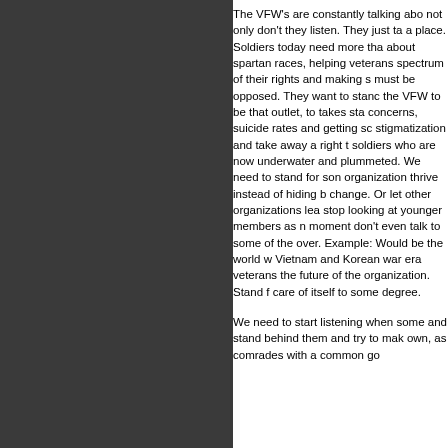The VFW's are constantly talking abo... not only don't they listen. They just ta... a place. Soldiers today need more tha... about spartan races, helping veterans... spectrum of their rights and making s... must be opposed. They want to stanc... the VFW to be that outlet, to takes sta... concerns, suicide rates and getting sc... stigmatization and take away a right t... soldiers who are now underwater and... plummeted. We need to stand for son... organization thrive instead of hiding b... change. Or let other organizations lea... stop looking at younger members as n... moment don't even talk to some of the... over. Example: Would be the world w... Vietnam and Korean war era veterans... the future of the organization. Stand f... care of itself to some degree.
We need to start listening when some... and stand behind them and try to mak... own, as comrades with a common go...